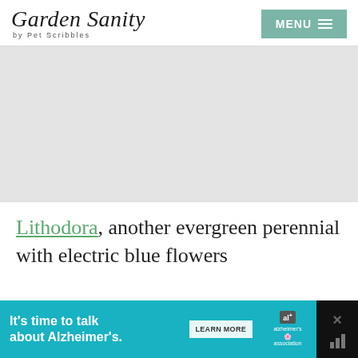Garden Sanity by Pet Scribbles | MENU
[Figure (other): Large gray placeholder image area below the navigation header]
Lithodora, another evergreen perennial with electric blue flowers
[Figure (other): Bottom advertisement banner: It's time to talk about Alzheimer's. LEARN MORE. Alzheimer's Association logo.]